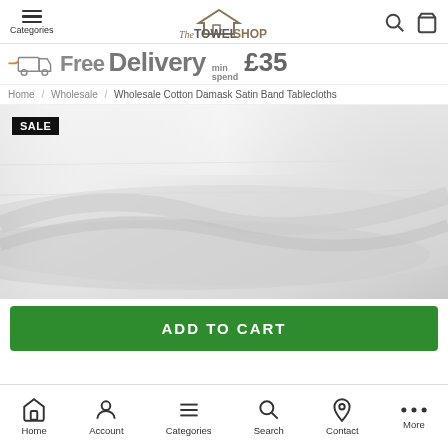Categories | The Towel Shop | Search | Cart
[Figure (infographic): Free Delivery min spend £35 banner with delivery truck icon]
Home / Wholesale / Wholesale Cotton Damask Satin Band Tablecloths
[Figure (photo): Close-up photo of white cotton damask tablecloth fabric with SALE badge]
ADD TO CART
Home | Account | Categories | Search | Contact | More